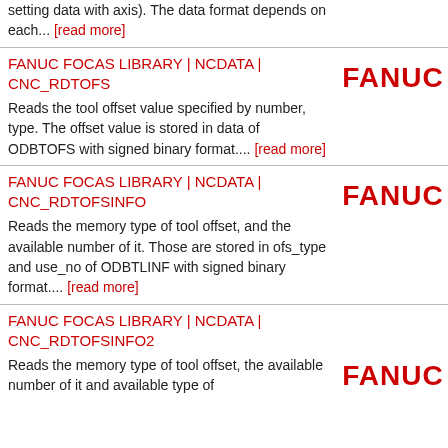setting data with axis). The data format depends on each... [read more]
FANUC FOCAS LIBRARY | NCDATA | CNC_RDTOFS
Reads the tool offset value specified by number, type. The offset value is stored in data of ODBTOFS with signed binary format.... [read more]
FANUC FOCAS LIBRARY | NCDATA | CNC_RDTOFSINFO
Reads the memory type of tool offset, and the available number of it. Those are stored in ofs_type and use_no of ODBTLINF with signed binary format.... [read more]
FANUC FOCAS LIBRARY | NCDATA | CNC_RDTOFSINFO2
Reads the memory type of tool offset, the available number of it and available type of